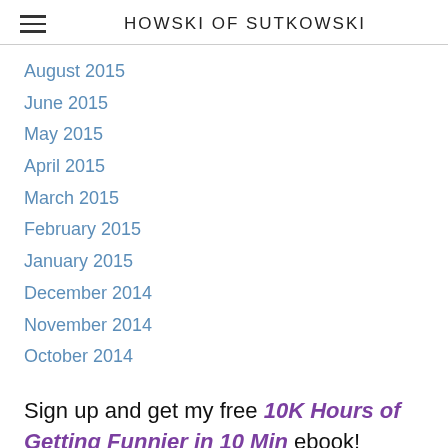HOWSKI OF SUTKOWSKI
August 2015
June 2015
May 2015
April 2015
March 2015
February 2015
January 2015
December 2014
November 2014
October 2014
Sign up and get my free 10K Hours of Getting Funnier in 10 Min ebook!
* Indicates required field
Email *